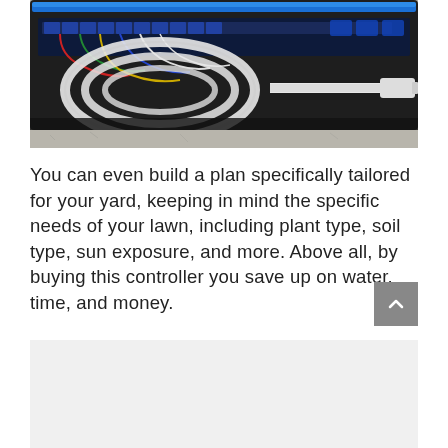[Figure (photo): Photo of an irrigation/sprinkler controller mounted on a concrete wall with the cover open, showing wiring terminals at top with colored wires connected, a coiled white cable on the left side, and a white cable connector on the right. Blue LED strip visible at top of device.]
You can even build a plan specifically tailored for your yard, keeping in mind the specific needs of your lawn, including plant type, soil type, sun exposure, and more. Above all, by buying this controller you save up on water, time, and money.